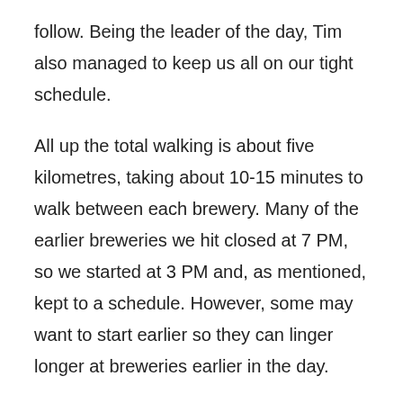follow. Being the leader of the day, Tim also managed to keep us all on our tight schedule.
All up the total walking is about five kilometres, taking about 10-15 minutes to walk between each brewery. Many of the earlier breweries we hit closed at 7 PM, so we started at 3 PM and, as mentioned, kept to a schedule. However, some may want to start earlier so they can linger longer at breweries earlier in the day.
Sydney Brewery Walking Tour